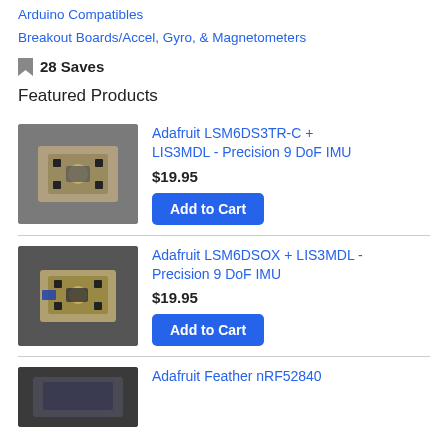Arduino Compatibles
Breakout Boards/Accel, Gyro, & Magnetometers
28 Saves
Featured Products
[Figure (photo): Photo of Adafruit LSM6DS3TR-C + LIS3MDL breakout board PCB on gray background]
Adafruit LSM6DS3TR-C + LIS3MDL - Precision 9 DoF IMU
$19.95
Add to Cart
[Figure (photo): Photo of Adafruit LSM6DSOX + LIS3MDL breakout board PCB on dark gray background]
Adafruit LSM6DSOX + LIS3MDL - Precision 9 DoF IMU
$19.95
Add to Cart
[Figure (photo): Photo of Adafruit Feather nRF52840 board on dark background]
Adafruit Feather nRF52840